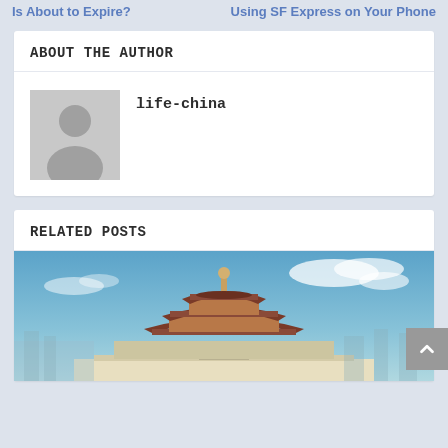Is About to Expire? | Using SF Express on Your Phone
ABOUT THE AUTHOR
[Figure (illustration): Default user avatar silhouette in gray, showing head and shoulders of a person placeholder]
life-china
RELATED POSTS
[Figure (photo): Photo of the Temple of Heaven in Beijing, China, with blue sky and clouds in the background]